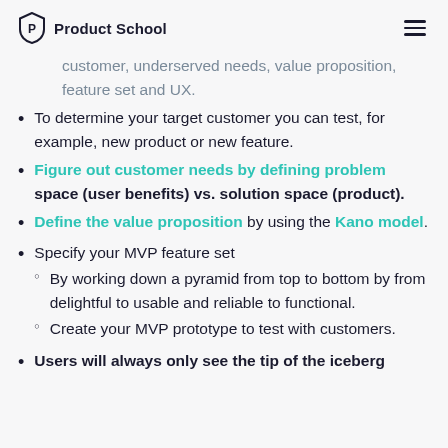Product School
customer, underserved needs, value proposition, feature set and UX.
To determine your target customer you can test, for example, new product or new feature.
Figure out customer needs by defining problem space (user benefits) vs. solution space (product).
Define the value proposition by using the Kano model.
Specify your MVP feature set
By working down a pyramid from top to bottom by from delightful to usable and reliable to functional.
Create your MVP prototype to test with customers.
Users will always only see the tip of the iceberg